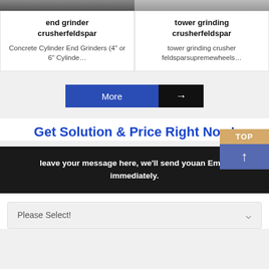[Figure (photo): Two product card images at top: left shows end grinder machinery, right shows tower grinding machinery]
end grinder crusherfeldspar
Concrete Cylinder End Grinders (4" or 6" Cylinde…
tower grinding crusherfeldspar
tower grinding crusher feldsparsupremewheels…
More →
TOP ↑
Get Solution & Price Right Now!
leave your message here, we'll send youan Email immediately.
Please Select!